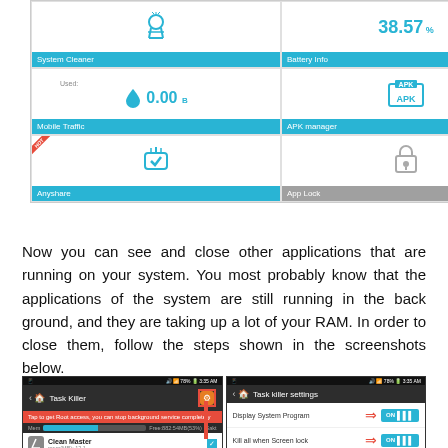[Figure (screenshot): Android app grid showing System Cleaner, Battery Info, Mobile Traffic, APK Manager, Anyshare, App Lock tiles]
Now you can see and close other applications that are running on your system. You most probably know that the applications of the system are still running in the back ground, and they are taking up a lot of your RAM. In order to close them, follow the steps shown in the screenshots below.
[Figure (screenshot): Two side-by-side Android screenshots: Task Killer app with app list and settings gear highlighted, and Task Killer settings showing Display System Program ON and Kill all when Screen lock ON toggles]